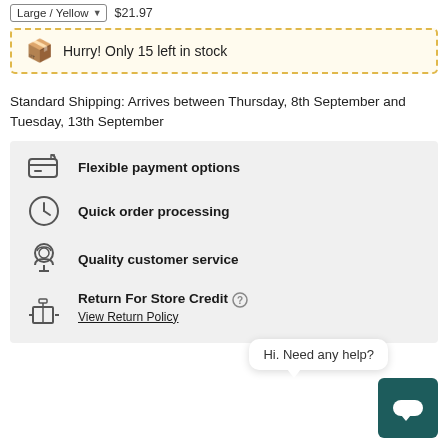Large / Yellow  $21.97
Hurry! Only 15 left in stock
Standard Shipping: Arrives between Thursday, 8th September and Tuesday, 13th September
Flexible payment options
Quick order processing
Quality customer service
Return For Store Credit
View Return Policy
Hi. Need any help?